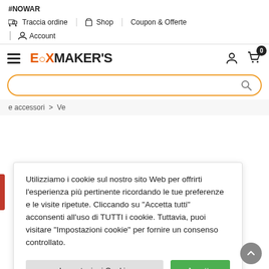#NOWAR
Traccia ordine | Shop | Coupon & Offerte
Account
[Figure (screenshot): Boxmaker's website header with logo, hamburger menu, user icon, cart icon with badge 0, and orange-bordered search bar]
e accessori > Ve
Utilizziamo i cookie sul nostro sito Web per offrirti l'esperienza più pertinente ricordando le tue preferenze e le visite ripetute. Cliccando su "Accetta tutti" acconsenti all'uso di TUTTI i cookie. Tuttavia, puoi visitare "Impostazioni cookie" per fornire un consenso controllato.
Impostazioni Cookie
Accetta